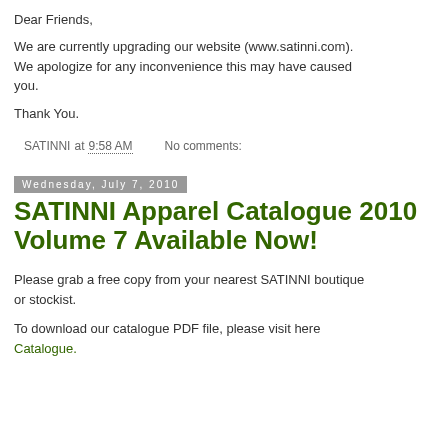Dear Friends,
We are currently upgrading our website (www.satinni.com). We apologize for any inconvenience this may have caused you.
Thank You.
SATINNI at 9:58 AM    No comments:
Wednesday, July 7, 2010
SATINNI Apparel Catalogue 2010 Volume 7 Available Now!
Please grab a free copy from your nearest SATINNI boutique or stockist.
To download our catalogue PDF file, please visit here Catalogue.